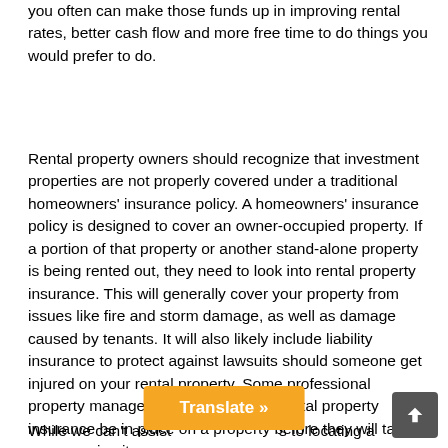you often can make those funds up in improving rental rates, better cash flow and more free time to do things you would prefer to do.
Rental property owners should recognize that investment properties are not properly covered under a traditional homeowners' insurance policy. A homeowners' insurance policy is designed to cover an owner-occupied property. If a portion of that property or another stand-alone property is being rented out, they need to look into rental property insurance. This will generally cover your property from issues like fire and storm damage, as well as damage caused by tenants. It will also likely include liability insurance to protect against lawsuits should someone get injured on your rental property. Some professional property managers will even require rental property insurance be in place on a property before they will take on managing it.
While we can't assist [Translate »] s to locating a